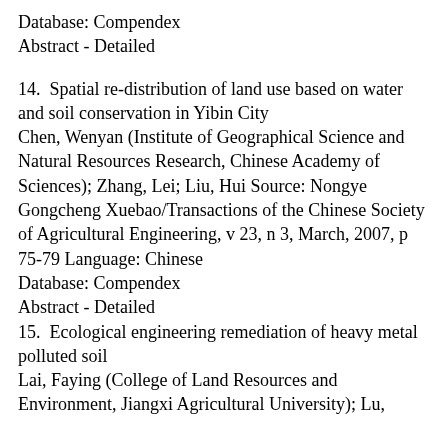Database: Compendex
Abstract  -  Detailed
14.  Spatial re-distribution of land use based on water and soil conservation in Yibin City
Chen, Wenyan (Institute of Geographical Science and Natural Resources Research, Chinese Academy of Sciences); Zhang, Lei; Liu, Hui Source: Nongye Gongcheng Xuebao/Transactions of the Chinese Society of Agricultural Engineering, v 23, n 3, March, 2007, p 75-79 Language: Chinese
Database: Compendex
Abstract  -  Detailed
15.  Ecological engineering remediation of heavy metal polluted soil
Lai, Faying (College of Land Resources and Environment, Jiangxi Agricultural University); Lu,